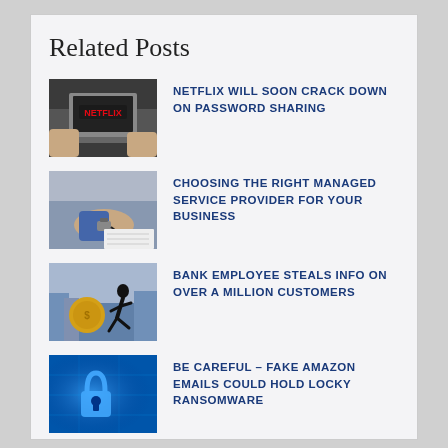Related Posts
NETFLIX WILL SOON CRACK DOWN ON PASSWORD SHARING
CHOOSING THE RIGHT MANAGED SERVICE PROVIDER FOR YOUR BUSINESS
BANK EMPLOYEE STEALS INFO ON OVER A MILLION CUSTOMERS
BE CAREFUL – FAKE AMAZON EMAILS COULD HOLD LOCKY RANSOMWARE
VIRGIN AMERICA AIRLINE LOGIN DATA MAY HAVE BEEN BREACHED